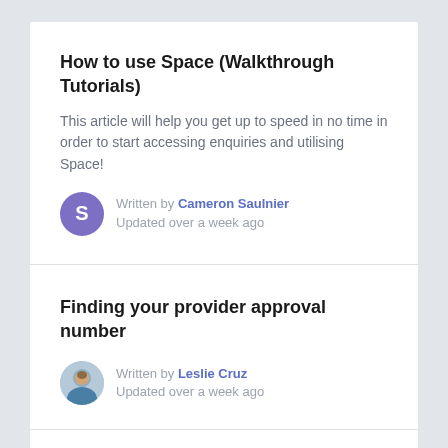How to use Space (Walkthrough Tutorials)
This article will help you get up to speed in no time in order to start accessing enquiries and utilising Space!
Written by Cameron Saulnier
Updated over a week ago
Finding your provider approval number
Written by Leslie Cruz
Updated over a week ago
Sync your waitlist from Office
Written by Leslie Cruz